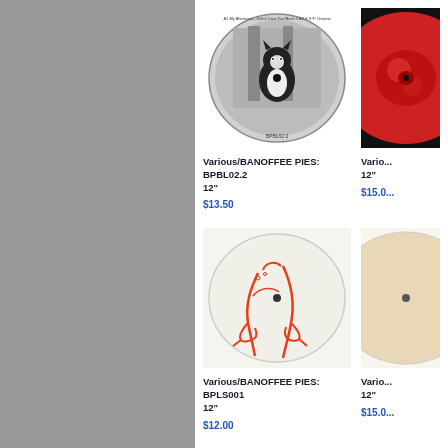[Figure (photo): Vinyl record with picture disc showing a black and white cat photo, labeled BPBL02.2]
Various/BANOFFEE PIES: BPBL02.2
12"
$13.50
[Figure (photo): Partially visible red vinyl record on black background]
Vario...
12"
$15.0...
[Figure (photo): White vinyl record with red line art illustration of legs and high heels, labeled BPLS001]
Various/BANOFFEE PIES: BPLS001
12"
$12.00
[Figure (photo): Partially visible cream/beige colored vinyl record]
Vario...
12"
$15.0...